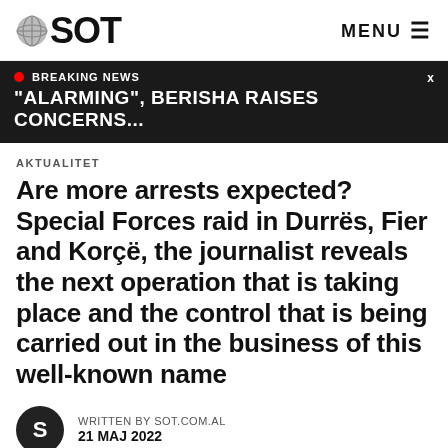SOT  MENU
BREAKING NEWS
"ALARMING", BERISHA RAISES CONCERNS...
AKTUALITET
Are more arrests expected? Special Forces raid in Durrës, Fier and Korçë, the journalist reveals the next operation that is taking place and the control that is being carried out in the business of this well-known name
WRITTEN BY SOT.COM.AL
21 MAJ 2022